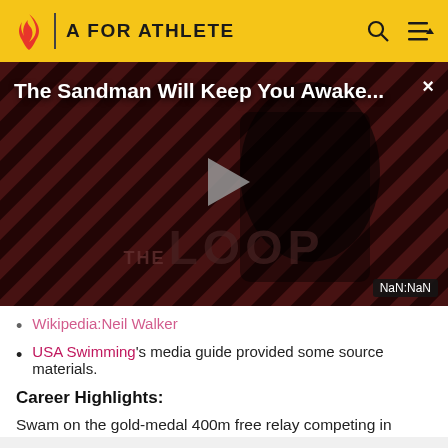A FOR ATHLETE
[Figure (screenshot): Video player showing 'The Sandman Will Keep You Awake...' with a dark-themed figure against a red and black diagonal striped background. THE LOOP text visible at bottom. Play button in center. NaN:NaN timestamp. Close X button top right.]
Wikipedia:Neil Walker
USA Swimming's media guide provided some source materials.
Career Highlights:
Swam on the gold-medal 400m free relay competing in